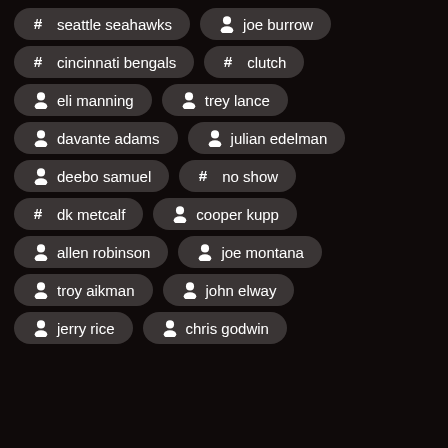# seattle seahawks
person joe burrow
# cincinnati bengals
# clutch
person eli manning
person trey lance
person davante adams
person julian edelman
person deebo samuel
# no show
# dk metcalf
person cooper kupp
person allen robinson
person joe montana
person troy aikman
person john elway
person jerry rice
person chris godwin